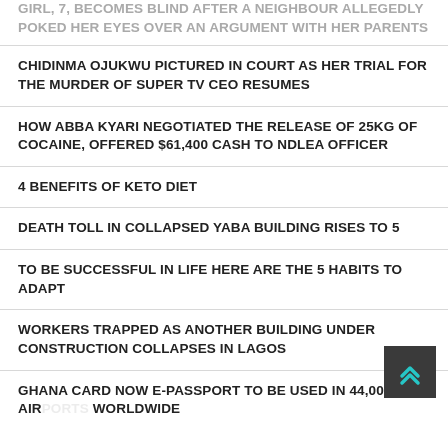GIRL, 7, BECOMES BLIND AFTER A NEIGHBOUR ALLEGEDLY POKED HER EYES OVER AN ARGUMENT WITH HER PARENTS
CHIDINMA OJUKWU PICTURED IN COURT AS HER TRIAL FOR THE MURDER OF SUPER TV CEO RESUMES
HOW ABBA KYARI NEGOTIATED THE RELEASE OF 25KG OF COCAINE, OFFERED $61,400 CASH TO NDLEA OFFICER
4 BENEFITS OF KETO DIET
DEATH TOLL IN COLLAPSED YABA BUILDING RISES TO 5
TO BE SUCCESSFUL IN LIFE HERE ARE THE 5 HABITS TO ADAPT
WORKERS TRAPPED AS ANOTHER BUILDING UNDER CONSTRUCTION COLLAPSES IN LAGOS
GHANA CARD NOW E-PASSPORT TO BE USED IN 44,000 AIRPORTS WORLDWIDE
WHAT THE COLOUR OF YOUR URINE SAYS ABOUT YOUR HEALTH